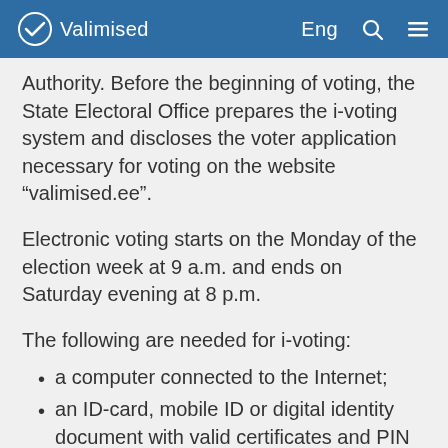Valimised — Eng
Authority. Before the beginning of voting, the State Electoral Office prepares the i-voting system and discloses the voter application necessary for voting on the website “valimised.ee”.
Electronic voting starts on the Monday of the election week at 9 a.m. and ends on Saturday evening at 8 p.m.
The following are needed for i-voting:
a computer connected to the Internet;
an ID-card, mobile ID or digital identity document with valid certificates and PIN